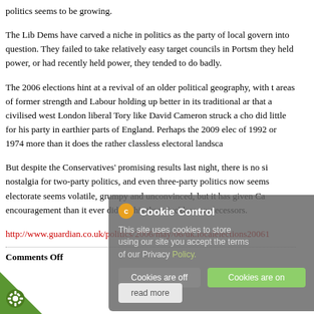politics seems to be growing.
The Lib Dems have carved a niche in politics as the party of local govern into question. They failed to take relatively easy target councils in Portsm they held power, or had recently held power, they tended to do badly.
The 2006 elections hint at a revival of an older political geography, with t areas of former strength and Labour holding up better in its traditional ar that a civilised west London liberal Tory like David Cameron struck a cho did little for his party in earthier parts of England. Perhaps the 2009 elec of 1992 or 1974 more than it does the rather classless electoral landsca
But despite the Conservatives’ promising results last night, there is no si nostalgia for two-party politics, and even three-party politics now seems electorate seems volatile, grumpy and unconvinced, but it has given Ca encouragement than it ever did for his three luckless predecessors.
http://www.guardian.co.uk/politics/2006/may/06/uk.localelections20061
Comments Off